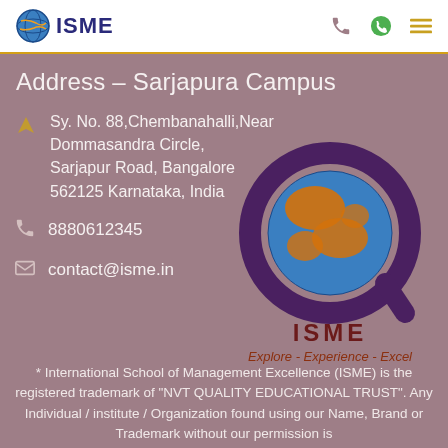ISME
Address – Sarjapura Campus
Sy. No. 88,Chembanahalli,Near Dommasandra Circle, Sarjapur Road, Bangalore 562125 Karnataka, India
8880612345
contact@isme.in
[Figure (logo): ISME globe logo with Q shape, tagline: Explore - Experience - Excel]
* International School of Management Excellence (ISME) is the registered trademark of "NVT QUALITY EDUCATIONAL TRUST". Any Individual / institute / Organization found using our Name, Brand or Trademark without our permission is